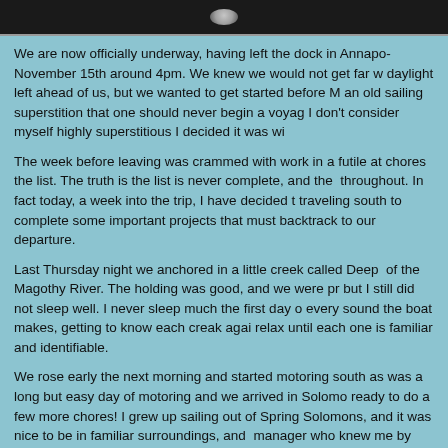[Figure (photo): Dark horizontal photo bar at the top of the page, showing a partially visible image with a bright spot near center]
We are now officially underway, having left the dock in Annapolis November 15th around 4pm. We knew we would not get far with the daylight left ahead of us, but we wanted to get started before Monday — an old sailing superstition that one should never begin a voyage on Monday. I don't consider myself highly superstitious I decided it was wiser...
The week before leaving was crammed with work in a futile attempt to chores the list. The truth is the list is never complete, and the work continues throughout. In fact today, a week into the trip, I have decided to briefly stop traveling south to complete some important projects that must... backtrack to our departure.
Last Thursday night we anchored in a little creek called Deep... of the Magothy River. The holding was good, and we were protected... but I still did not sleep well. I never sleep much the first day out, listening to every sound the boat makes, getting to know each creak again... relax until each one is familiar and identifiable.
We rose early the next morning and started motoring south as... was a long but easy day of motoring and we arrived in Solomons... ready to do a few more chores! I grew up sailing out of Spring... Solomons, and it was nice to be in familiar surroundings, and... manager who knew me by name. Saturday we went for a bea... friend, and had our first chance in quite some time to test D...